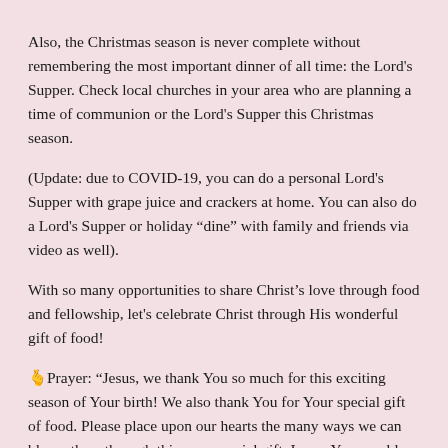Also, the Christmas season is never complete without remembering the most important dinner of all time: the Lord's Supper. Check local churches in your area who are planning a time of communion or the Lord's Supper this Christmas season.
(Update: due to COVID-19, you can do a personal Lord's Supper with grape juice and crackers at home. You can also do a Lord's Supper or holiday “dine” with family and friends via video as well).
With so many opportunities to share Christ’s love through food and fellowship, let’s celebrate Christ through His wonderful gift of food!
🫰Prayer: “Jesus, we thank You so much for this exciting season of Your birth! We also thank You for Your special gift of food. Please place upon our hearts the many ways we can bless others through this very special gift. I pray You would help us to see, and be aware of, those around us who are hurting, those in need, those who need encouragement, and those who need a reminder that someone cares. Please bless us as we are a blessing to others this Christmas season! Thank You for Your beautiful creativity, and giving us the great gift of fellowship with our loved ones. Thank You more importantly for our